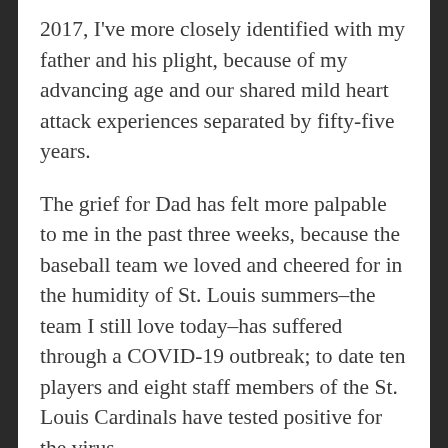2017, I've more closely identified with my father and his plight, because of my advancing age and our shared mild heart attack experiences separated by fifty-five years.
The grief for Dad has felt more palpable to me in the past three weeks, because the baseball team we loved and cheered for in the humidity of St. Louis summers–the team I still love today–has suffered through a COVID-19 outbreak; to date ten players and eight staff members of the St. Louis Cardinals have tested positive for the virus.